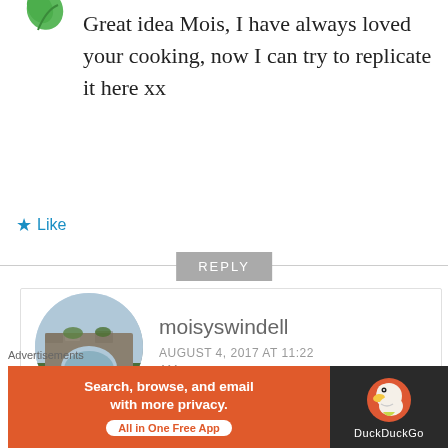[Figure (illustration): Partial green leaf/plant avatar icon at top left, cropped at top]
Great idea Mois, I have always loved your cooking, now I can try to replicate it here xx
★ Like
REPLY
[Figure (photo): Round avatar photo showing a stone arch bridge over water with greenery]
moisyswindell
AUGUST 4, 2017 AT 11:22 AM
And there is more to come.......x
Advertisements
[Figure (screenshot): DuckDuckGo advertisement banner: orange section with 'Search, browse, and email with more privacy. All in One Free App' and dark section with DuckDuckGo duck logo]